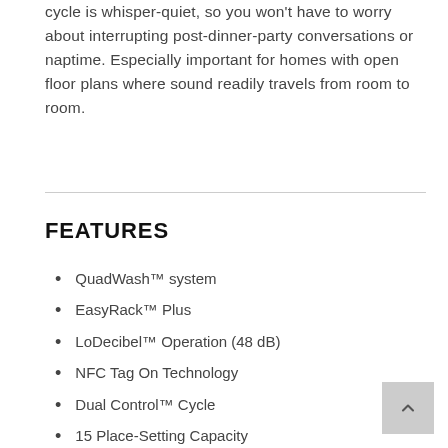cycle is whisper-quiet, so you won't have to worry about interrupting post-dinner-party conversations or naptime. Especially important for homes with open floor plans where sound readily travels from room to room.
FEATURES
QuadWash™ system
EasyRack™ Plus
LoDecibel™ Operation (48 dB)
NFC Tag On Technology
Dual Control™ Cycle
15 Place-Setting Capacity